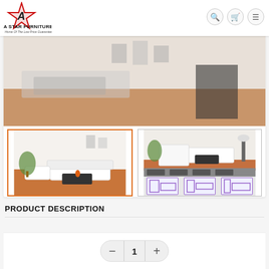[Figure (logo): A Star Furniture logo with red star and text 'A STAR FURNITURE Home Of The Low Price Guarantee']
[Figure (photo): Main product image showing white sectional sofa set in a living room with orange/terracotta rug and dark wood coffee table]
[Figure (photo): Thumbnail 1: White sofa set with plant, orange rug]
[Figure (photo): Thumbnail 2: White sectional sofa with floor plan/configuration diagrams]
PRODUCT DESCRIPTION